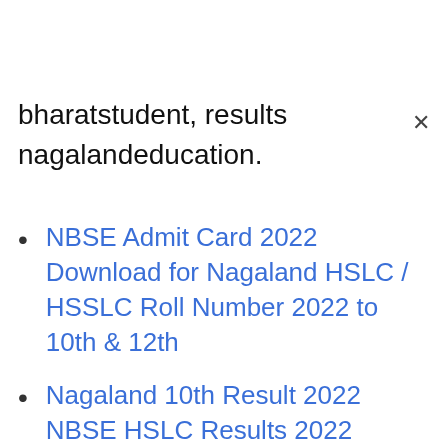bharatstudent, results nagalandeducation.
NBSE Admit Card 2022 Download for Nagaland HSLC / HSSLC Roll Number 2022 to 10th & 12th
Nagaland 10th Result 2022 NBSE HSLC Results 2022
Meghalaya 12th Result 2022 MBOSE HSSLC Result 2022